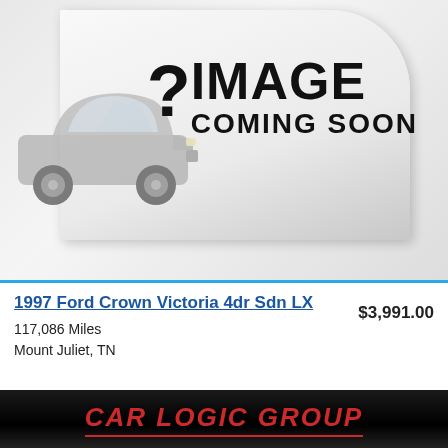[Figure (photo): Placeholder image showing a car silhouette on a peeling paper background with '? IMAGE COMING SOON' text in bold black letters]
1997 Ford Crown Victoria 4dr Sdn LX
117,086 Miles
Mount Juliet, TN
$3,991.00
CAR LOGIC GROUP